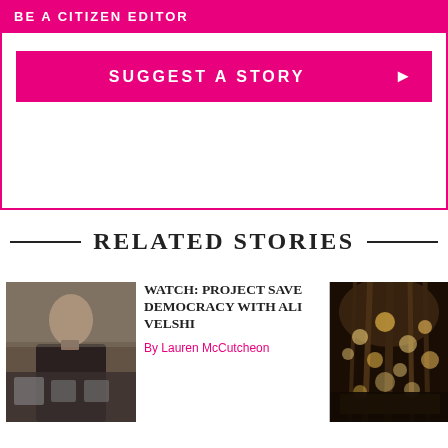BE A CITIZEN EDITOR
[Figure (other): Pink/magenta 'SUGGEST A STORY' button with right arrow, inside a bordered box]
RELATED STORIES
[Figure (photo): Photo of a man speaking at a podium to a seated audience, in a room with brick walls]
WATCH: PROJECT SAVE DEMOCRACY WITH ALI VELSHI
By Lauren McCutcheon
[Figure (photo): Photo of trees with string lights at night, warm bokeh lighting]